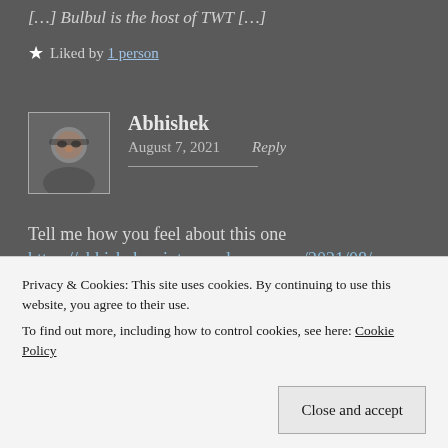[…] Bulbul is the host of TWT […]
★ Liked by 1 person
Abhishek
August 7, 2021   Reply
Tell me how you feel about this one
https://abhishekscripts.wordpress.com/2021/08/
Privacy & Cookies: This site uses cookies. By continuing to use this website, you agree to their use.
To find out more, including how to control cookies, see here: Cookie Policy
Close and accept